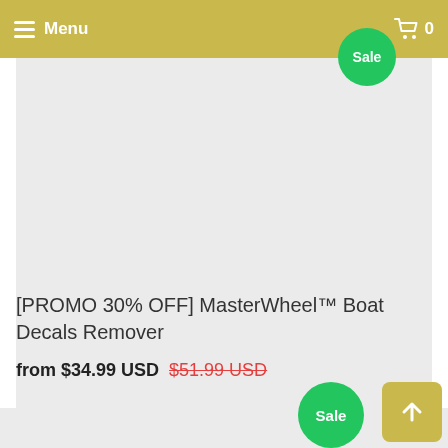Menu | Sale | Cart 0
[Figure (photo): Product image placeholder — light gray rectangle for MasterWheel Boat Decals Remover product]
[PROMO 30% OFF] MasterWheel™ Boat Decals Remover
from $34.99 USD $51.99 USD
[Figure (photo): Second product card image placeholder — light gray rectangle with Sale badge]